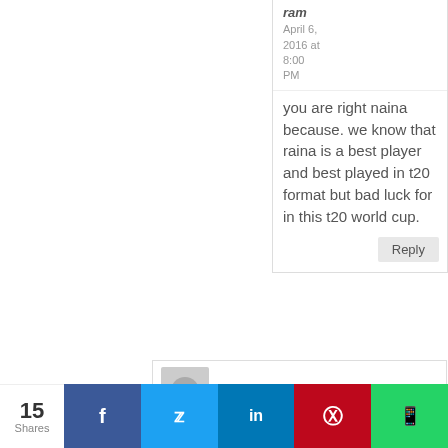ram
April 6, 2016 at 8:00 PM
you are right naina because. we know that raina is a best player and best played in t20 format but bad luck for in this t20 world cup.
Reply
Biplab sarkar
15 Shares